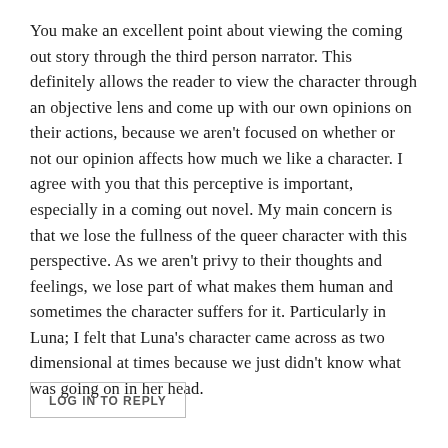You make an excellent point about viewing the coming out story through the third person narrator. This definitely allows the reader to view the character through an objective lens and come up with our own opinions on their actions, because we aren't focused on whether or not our opinion affects how much we like a character. I agree with you that this perceptive is important, especially in a coming out novel. My main concern is that we lose the fullness of the queer character with this perspective. As we aren't privy to their thoughts and feelings, we lose part of what makes them human and sometimes the character suffers for it. Particularly in Luna; I felt that Luna's character came across as two dimensional at times because we just didn't know what was going on in her head.
LOG IN TO REPLY